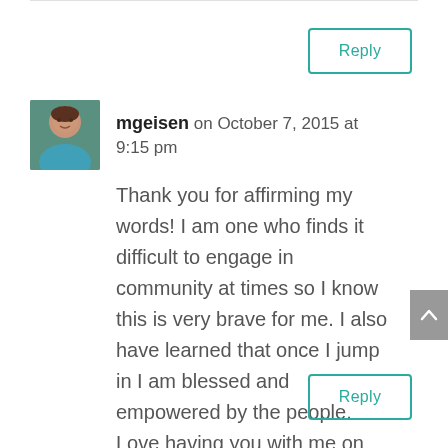[Figure (other): Reply button (top) — teal border, teal text 'Reply']
[Figure (photo): Avatar photo of mgeisen — a woman with dark hair wearing teal]
mgeisen on October 7, 2015 at 9:15 pm
Thank you for affirming my words! I am one who finds it difficult to engage in community at times so I know this is very brave for me. I also have learned that once I jump in I am blessed and empowered by the people. Love having you with me on this journey. You are such a gift my friend!
[Figure (other): Reply button (bottom) — teal border, teal text 'Reply']